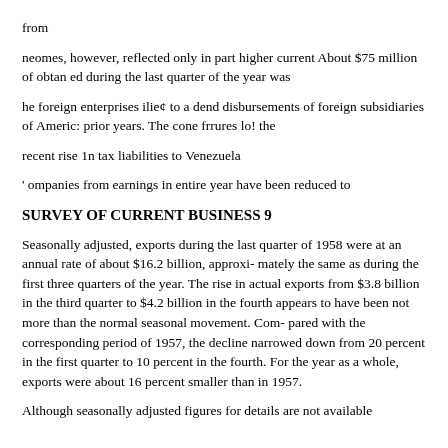from
neomes, however, reflected only in part higher current About $75 million of obtan ed during the last quarter of the year was
he foreign enterprises ilie¢ to a dend disbursements of foreign subsidiaries of Americ: prior years. The cone frrures lo! the
recent rise 1n tax liabilities to Venezuela
' ompanies from earnings in entire year have been reduced to
SURVEY OF CURRENT BUSINESS 9
Seasonally adjusted, exports during the last quarter of 1958 were at an annual rate of about $16.2 billion, approxi- mately the same as during the first three quarters of the year. The rise in actual exports from $3.8 billion in the third quarter to $4.2 billion in the fourth appears to have been not more than the normal seasonal movement. Com- pared with the corresponding period of 1957, the decline narrowed down from 20 percent in the first quarter to 10 percent in the fourth. For the year as a whole, exports were about 16 percent smaller than in 1957.
Although seasonally adjusted figures for details are not available